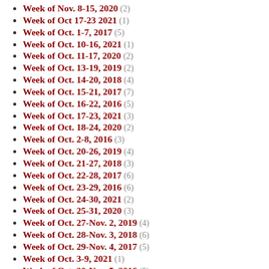Week of Nov. 8-15, 2020 (2)
Week of Oct 17-23 2021 (1)
Week of Oct. 1-7, 2017 (5)
Week of Oct. 10-16, 2021 (1)
Week of Oct. 11-17, 2020 (2)
Week of Oct. 13-19, 2019 (2)
Week of Oct. 14-20, 2018 (4)
Week of Oct. 15-21, 2017 (7)
Week of Oct. 16-22, 2016 (5)
Week of Oct. 17-23, 2021 (3)
Week of Oct. 18-24, 2020 (2)
Week of Oct. 2-8, 2016 (3)
Week of Oct. 20-26, 2019 (4)
Week of Oct. 21-27, 2018 (3)
Week of Oct. 22-28, 2017 (6)
Week of Oct. 23-29, 2016 (6)
Week of Oct. 24-30, 2021 (2)
Week of Oct. 25-31, 2020 (3)
Week of Oct. 27-Nov. 2, 2019 (4)
Week of Oct. 28-Nov. 3, 2018 (6)
Week of Oct. 29-Nov. 4, 2017 (5)
Week of Oct. 3-9, 2021 (1)
Week of Oct. 30-Nov. 5, 2016 (5)
Week of Oct. 31-Nov. 6, 2021 (4)
Week of Oct. 4-10, 2020 (2)